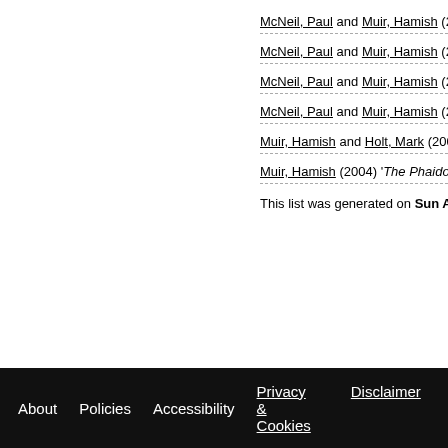McNeil, Paul and Muir, Hamish (2011
McNeil, Paul and Muir, Hamish (2010
McNeil, Paul and Muir, Hamish (2010
McNeil, Paul and Muir, Hamish (2010
Muir, Hamish and Holt, Mark (2005)
Muir, Hamish (2004) 'The Phaidon At
This list was generated on Sun Aug 2
About   Policies   Accessibility   Privacy & Cookies   Disclaimer